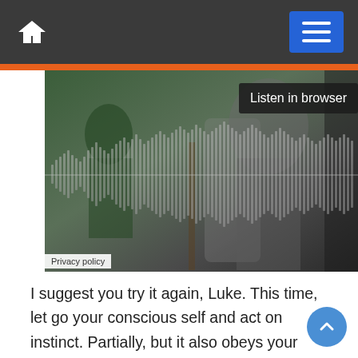[Figure (screenshot): Navigation bar with home icon on left and blue hamburger menu button on right, dark gray background]
[Figure (photo): Audio player embedded in a photo of musicians playing guitar, with waveform visualization overlay and 'Listen in browser' badge, Privacy policy label in bottom left]
I suggest you try it again, Luke. This time, let go your conscious self and act on instinct. Partially, but it also obeys your commands. The Force is strong with this one. I have you now. You're all clear, kid. Let's blow this thing and go home! The more you tighten your grip, Tarkin, the more star systems will slip through your fingers. You mean it